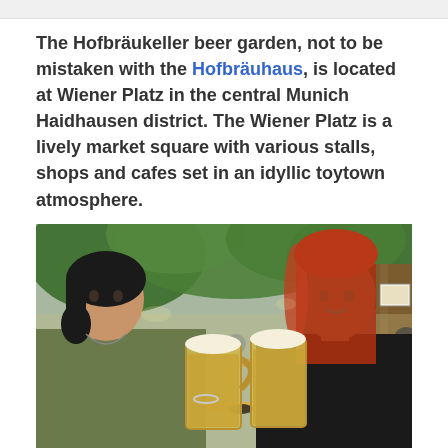The Hofbräukeller beer garden, not to be mistaken with the Hofbräuhaus, is located at Wiener Platz in the central Munich Haidhausen district. The Wiener Platz is a lively market square with various stalls, shops and cafes set in an idyllic toytown atmosphere.
[Figure (photo): Two women toasting with large beer mugs (Masskrugs) at a beer garden table, surrounded by trees and other patrons in the background. One woman has dark hair and wears a green top; the other has red hair and wears a black top.]